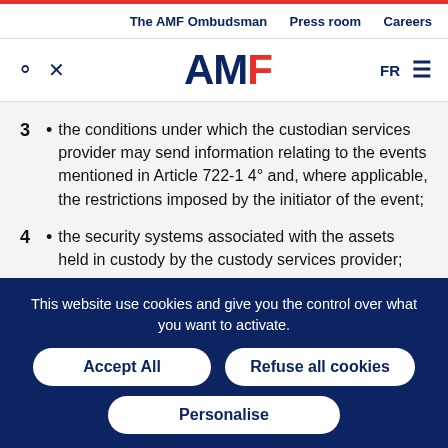The AMF Ombudsman  Press room  Careers
[Figure (logo): AMF logo with search icon, tool icon, FR language toggle, and hamburger menu]
3 • the conditions under which the custodian services provider may send information relating to the events mentioned in Article 722-1 4° and, where applicable, the restrictions imposed by the initiator of the event;
4 • the security systems associated with the assets held in custody by the custody services provider;
This website use cookies and give you the control over what you want to activate.
Accept All  Refuse all cookies  Personalise